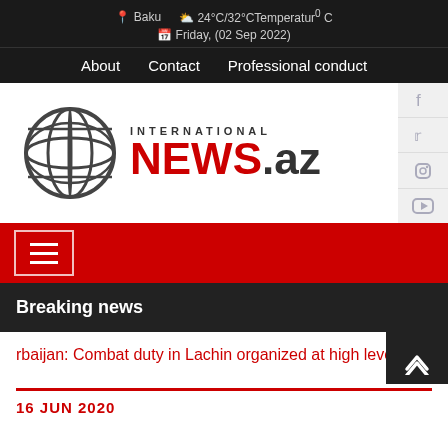Baku  24°C/32°C Temperatur° C  Friday, (02 Sep 2022)
About  Contact  Professional conduct
[Figure (logo): International NEWS.az globe logo with red NEWS text and dark globe icon]
[Figure (other): Red navigation bar with hamburger menu button (three horizontal lines in white border box)]
Breaking news
rbaijan: Combat duty in Lachin organized at high level
16 JUN 2020